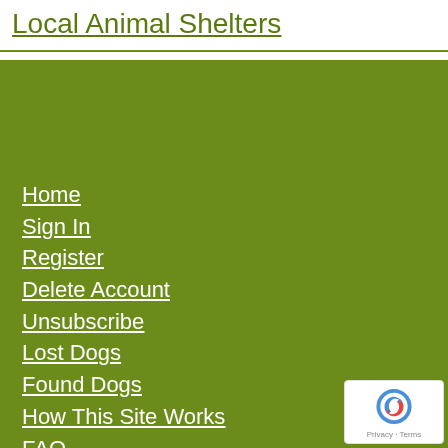Local Animal Shelters
Home
Sign In
Register
Delete Account
Unsubscribe
Lost Dogs
Found Dogs
How This Site Works
FAQ
Contact Us